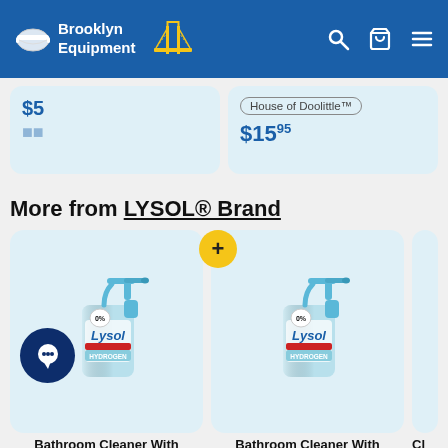Brooklyn Equipment
$15.95
House of Doolittle™
More from LYSOL® Brand
[Figure (photo): Lysol Bathroom Cleaner With Hydrogen Peroxide spray bottle]
Bathroom Cleaner With
[Figure (photo): Lysol Bathroom Cleaner With Hydrogen Peroxide spray bottle]
Bathroom Cleaner With
[Figure (photo): Partially visible product card (Cl...)]